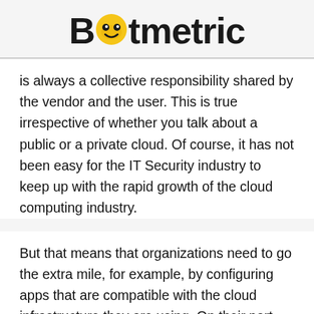Botmetric
is always a collective responsibility shared by the vendor and the user. This is true irrespective of whether you talk about a public or a private cloud. Of course, it has not been easy for the IT Security industry to keep up with the rapid growth of the cloud computing industry.
But that means that organizations need to go the extra mile, for example, by configuring apps that are compatible with the cloud infrastructure they are using. On their part, vendors need to ensure rigorous security on Virtual Machines (VMs) where storage space is shared by multiple clients and on data centres, addressing a lot of complexities with regard to this challenge can be successfully achieved. Regulatory compliance also helps.